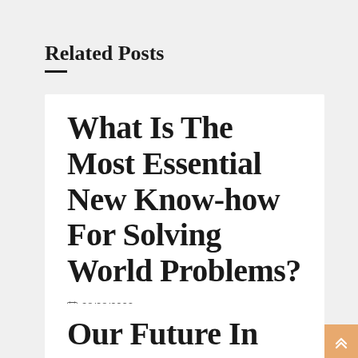Related Posts
What Is The Most Essential New Know-how For Solving World Problems?
28/08/2022
Our Future In